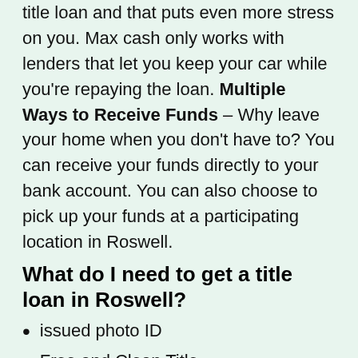title loan and that puts even more stress on you. Max cash only works with lenders that let you keep your car while you're repaying the loan. Multiple Ways to Receive Funds – Why leave your home when you don't have to? You can receive your funds directly to your bank account. You can also choose to pick up your funds at a participating location in Roswell.
What do I need to get a title loan in Roswell?
issued photo ID
Free and Clean Title